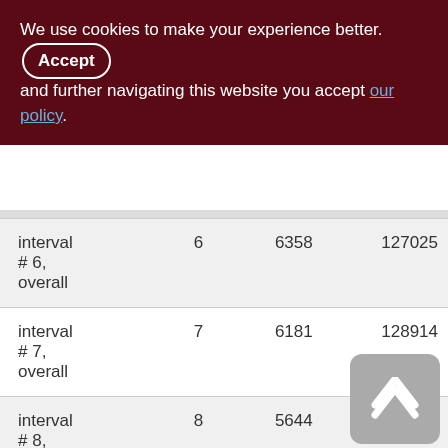We use cookies to make your experience better. By accepting and further navigating this website you accept our policy.
|  |  |  |  |
| --- | --- | --- | --- |
| interval # 6, overall | 6 | 6358 | 127025 |
| interval # 7, overall | 7 | 6181 | 128914 |
| interval # 8, overall | 8 | 5644 | 115761 |
| interval # 9, overall | 9 | 5509 | 115012 |